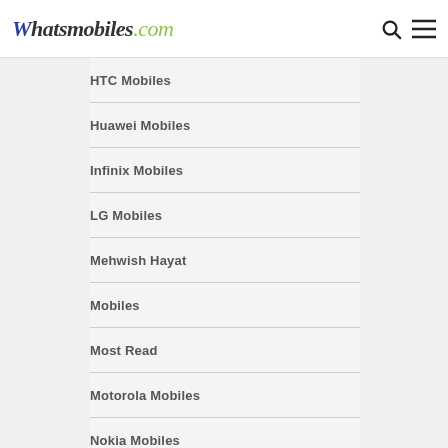Whatsmobiles.com
HTC Mobiles
Huawei Mobiles
Infinix Mobiles
LG Mobiles
Mehwish Hayat
Mobiles
Most Read
Motorola Mobiles
Nokia Mobiles
OnePlus Mobiles